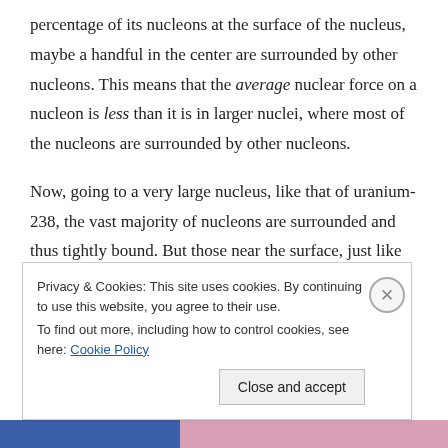percentage of its nucleons at the surface of the nucleus, maybe a handful in the center are surrounded by other nucleons. This means that the average nuclear force on a nucleon is less than it is in larger nuclei, where most of the nucleons are surrounded by other nucleons.
Now, going to a very large nucleus, like that of uranium-238, the vast majority of nucleons are surrounded and thus tightly bound. But those near the surface, just like those on the surface of carbon-12, feel half of the nuclear force attraction. But the protons there
Privacy & Cookies: This site uses cookies. By continuing to use this website, you agree to their use.
To find out more, including how to control cookies, see here: Cookie Policy
Close and accept